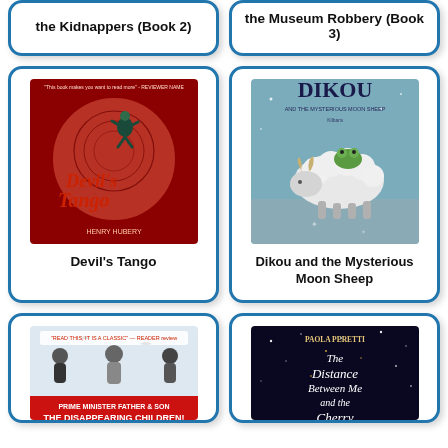the Kidnappers (Book 2)
the Museum Robbery (Book 3)
[Figure (illustration): Book cover of Devil's Tango - dark red background with figure climbing a large moon, stylized text]
Devil's Tango
[Figure (illustration): Book cover of Dikou and the Mysterious Moon Sheep - illustrated sheep with green frog on back against grey background]
Dikou and the Mysterious Moon Sheep
[Figure (illustration): Book cover of The Disappearing Children - illustrated figures with text Prime Minister Father & Son]
[Figure (illustration): Book cover of The Distance Between Me and the Cherry - dark night sky cover by Paola Peretti]